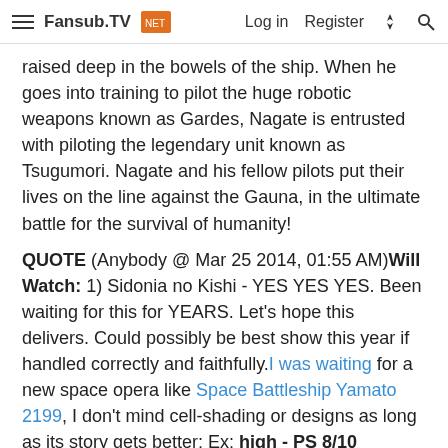Fansub.TV — Log in  Register
raised deep in the bowels of the ship. When he goes into training to pilot the huge robotic weapons known as Gardes, Nagate is entrusted with piloting the legendary unit known as Tsugumori. Nagate and his fellow pilots put their lives on the line against the Gauna, in the ultimate battle for the survival of humanity!
QUOTE (Anybody @ Mar 25 2014, 01:55 AM) Will Watch: 1) Sidonia no Kishi - YES YES YES. Been waiting for this for YEARS. Let's hope this delivers. Could possibly be best show this year if handled correctly and faithfully. I was waiting for a new space opera like Space Battleship Yamato 2199, I don't mind cell-shading or designs as long as its story gets better; Ex: high - PS 8/10
Anybody
-sama  Sempai